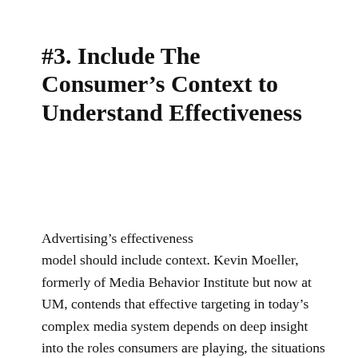#3. Include The Consumer's Context to Understand Effectiveness
Advertising's effectiveness model should include context. Kevin Moeller, formerly of Media Behavior Institute but now at UM, contends that effective targeting in today's complex media system depends on deep insight into the roles consumers are playing, the situations they are in, and the emotions they are experiencing at the moment that messages reach them. Reaching audiences when they are most receptive to the message often improves the response to advertising